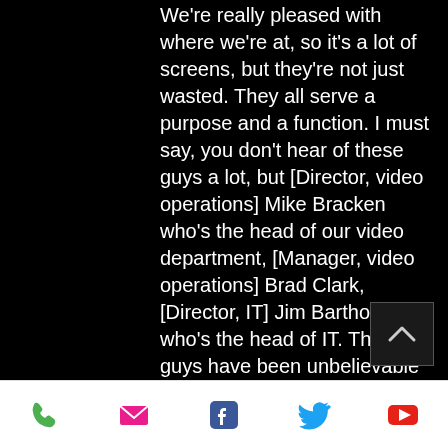We're really pleased with where we're at, so it's a lot of screens, but they're not just wasted. They all serve a purpose and a function. I must say, you don't hear of these guys a lot, but [Director, video operations] Mike Bracken who's the head of our video department, [Manager, video operations] Brad Clark, [Director, IT] Jim Bartholomew who's the head of IT. These guys have been unbelievable and that not only goes for the draft meetings, but even prior Mike did an incredible job of even before the shelter in place happened. He started downloading all the computers. With Kyle and I, the big
[Figure (other): Mobile app footer navigation bar with phone, email, Facebook, Twitter, and YouTube icons]